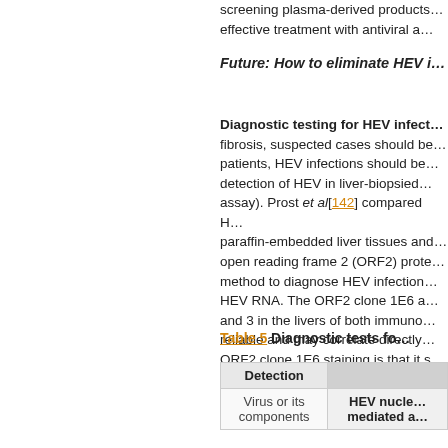screening plasma-derived products… effective treatment with antiviral a…
Future: How to eliminate HEV i…
Diagnostic testing for HEV infect… fibrosis, suspected cases should be… patients, HEV infections should be… detection of HEV in liver-biopsied… assay). Prost et al[142] compared H… paraffin-embedded liver tissues and… open reading frame 2 (ORF2) prote… method to diagnose HEV infection… HEV RNA. The ORF2 clone 1E6 a… and 3 in the livers of both immuno… reliable and may correlate directly… ORF2 clone 1E6 staining is that it s… with high efficacy is still needed. T…
Table 5  Diagnostic tests fo…
| Detection | HEV nucle… mediated a… |
| --- | --- |
| Virus or its components | HEV nucle… mediated a… |